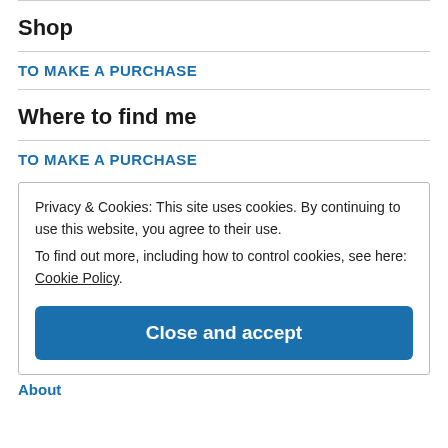Shop
TO MAKE A PURCHASE
Where to find me
TO MAKE A PURCHASE
Privacy & Cookies: This site uses cookies. By continuing to use this website, you agree to their use.
To find out more, including how to control cookies, see here: Cookie Policy
Close and accept
About